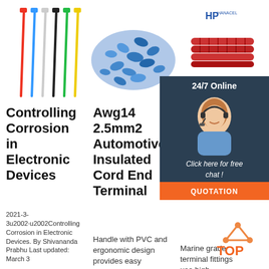[Figure (photo): Colorful cable ties (red, blue, white, black, green, yellow) fanned out vertically]
[Figure (photo): Pile of blue insulated wire connectors/terminals]
[Figure (logo): HP Hanacel logo in blue]
[Figure (photo): Red corrugated heat shrink tubing pieces]
[Figure (infographic): 24/7 Online chat box with woman wearing headset, Click here for free chat, and QUOTATION button]
Controlling Corrosion in Electronic Devices
2021-3-3u2002·u2002Controlling Corrosion in Electronic Devices. By Shivananda Prabhu Last updated: March 3
Awg14 2.5mm2 Automotive Insulated Cord End Terminal
Handle with PVC and ergonomic design provides easy operation and sturdy crimping. Provide
Mar Gra Wire Con Term Ties Clamps
Marine grade terminal fittings use high performance nylon sleeves that
[Figure (logo): Orange and red TOP logo with arrow pointing up]